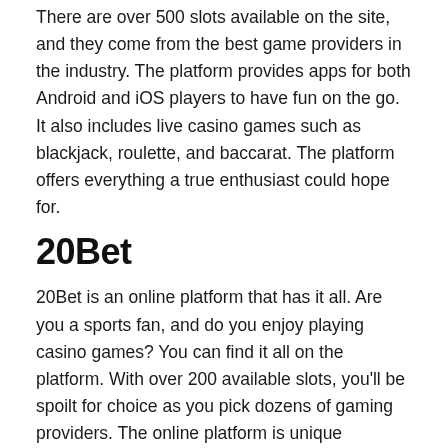There are over 500 slots available on the site, and they come from the best game providers in the industry. The platform provides apps for both Android and iOS players to have fun on the go. It also includes live casino games such as blackjack, roulette, and baccarat. The platform offers everything a true enthusiast could hope for.
20Bet
20Bet is an online platform that has it all. Are you a sports fan, and do you enjoy playing casino games? You can find it all on the platform. With over 200 available slots, you'll be spoilt for choice as you pick dozens of gaming providers. The online platform is unique because it is among the top fast withdrawal casinos, due to specific payment methods supported. That means that the platform supports Bitcoin, Litecoin, and Ethereum payouts. That's good news for all those who want to cash out their winnings immediately.